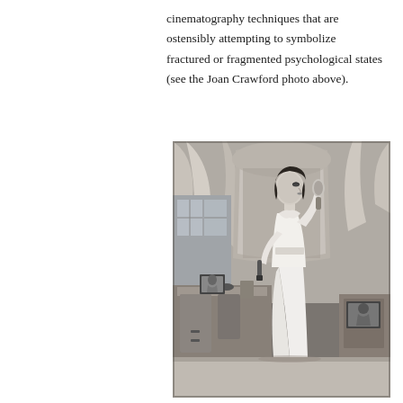cinematography techniques that are ostensibly attempting to symbolize fractured or fragmented psychological states (see the Joan Crawford photo above).
[Figure (photo): Black and white still photograph of a woman in a long white robe or gown standing in an elegant room with mirrors and vanity furniture, holding a hand mirror up to her face. The scene appears to be from a classic Hollywood film, likely featuring Joan Crawford.]